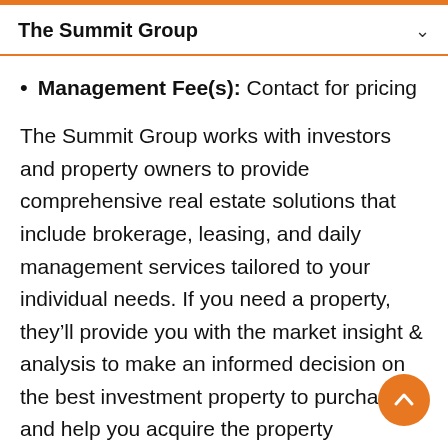The Summit Group
Management Fee(s): Contact for pricing
The Summit Group works with investors and property owners to provide comprehensive real estate solutions that include brokerage, leasing, and daily management services tailored to your individual needs. If you need a property, they’ll provide you with the market insight & analysis to make an informed decision on the best investment property to purchase and help you acquire the property